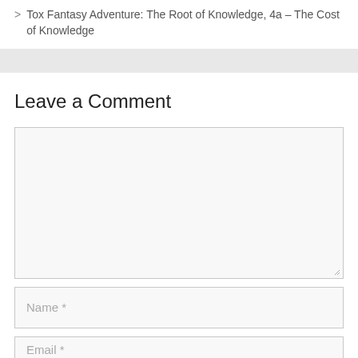> Tox Fantasy Adventure: The Root of Knowledge, 4a – The Cost of Knowledge
Leave a Comment
[Figure (screenshot): Comment form textarea input field (empty)]
[Figure (screenshot): Name input field with placeholder 'Name *']
[Figure (screenshot): Email input field (partially visible)]